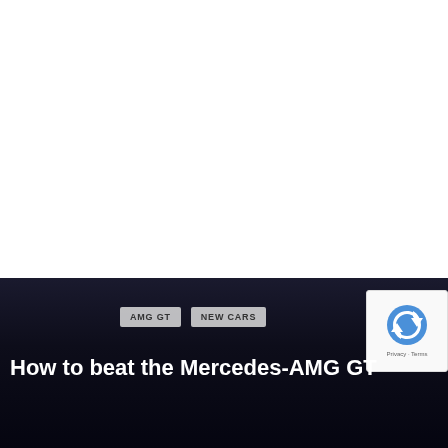[Figure (photo): Dark banner background at bottom of page, likely the bottom portion of a web article page featuring a dark overlay]
AMG GT
NEW CARS
How to beat the Mercedes-AMG GT